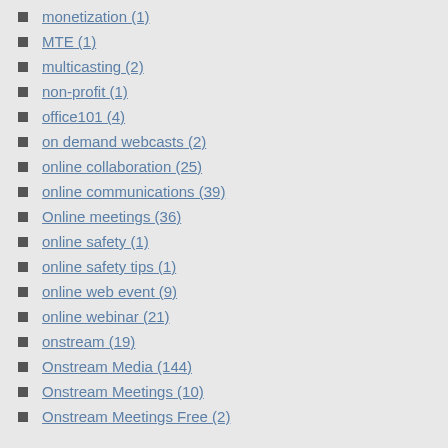monetization (1)
MTE (1)
multicasting (2)
non-profit (1)
office101 (4)
on demand webcasts (2)
online collaboration (25)
online communications (39)
Online meetings (36)
online safety (1)
online safety tips (1)
online web event (9)
online webinar (21)
onstream (19)
Onstream Media (144)
Onstream Meetings (10)
Onstream Meetings Free (2)